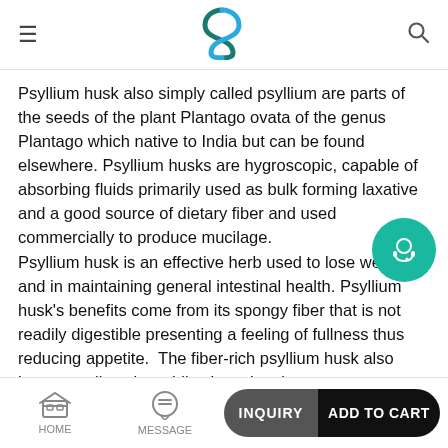Navigation header with hamburger menu, logo, and search icon
Psyllium husk also simply called psyllium are parts of the seeds of the plant Plantago ovata of the genus Plantago which native to India but can be found elsewhere. Psyllium husks are hygroscopic, capable of absorbing fluids primarily used as bulk forming laxative and a good source of dietary fiber and used commercially to produce mucilage.
Psyllium husk is an effective herb used to lose weight and in maintaining general intestinal health. Psyllium husk's benefits come from its spongy fiber that is not readily digestible presenting a feeling of fullness thus reducing appetite. The fiber-rich psyllium husk also improves digestion while cleansing the system.
HOME | MESSAGE | INQUIRY | ADD TO CART